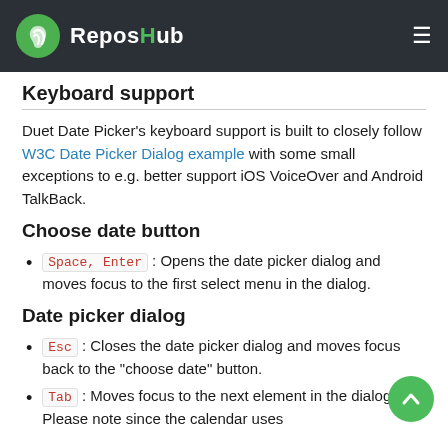ReposHub
Keyboard support
Duet Date Picker's keyboard support is built to closely follow W3C Date Picker Dialog example with some small exceptions to e.g. better support iOS VoiceOver and Android TalkBack.
Choose date button
Space, Enter : Opens the date picker dialog and moves focus to the first select menu in the dialog.
Date picker dialog
Esc : Closes the date picker dialog and moves focus back to the "choose date" button.
Tab : Moves focus to the next element in the dialog. Please note since the calendar uses